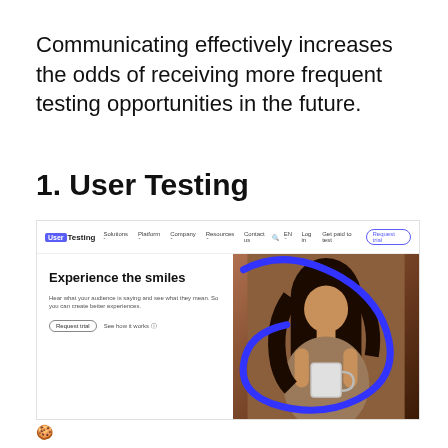Communicating effectively increases the odds of receiving more frequent testing opportunities in the future.
1. User Testing
[Figure (screenshot): Screenshot of the UserTesting website homepage showing a navigation bar with logo, menu items (Solutions, Platform, Company, Resources, Contact us), and a hero section with the headline 'Experience the smiles', subtitle 'Hear what your audience is saying and see what they mean. So you can create better experiences.', two buttons (Request trial, See how it works), and a photo of a woman with a blue decorative loop graphic overlay.]
🍪